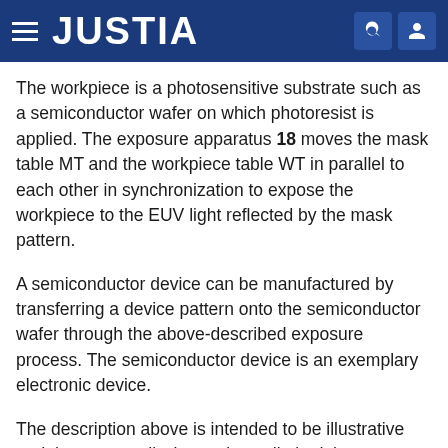JUSTIA
The workpiece is a photosensitive substrate such as a semiconductor wafer on which photoresist is applied. The exposure apparatus 18 moves the mask table MT and the workpiece table WT in parallel to each other in synchronization to expose the workpiece to the EUV light reflected by the mask pattern.
A semiconductor device can be manufactured by transferring a device pattern onto the semiconductor wafer through the above-described exposure process. The semiconductor device is an exemplary electronic device.
The description above is intended to be illustrative and the present disclosure is not limited thereto. Therefore, it would be obvious to those skilled in the art that various modifications to the embodiments of the